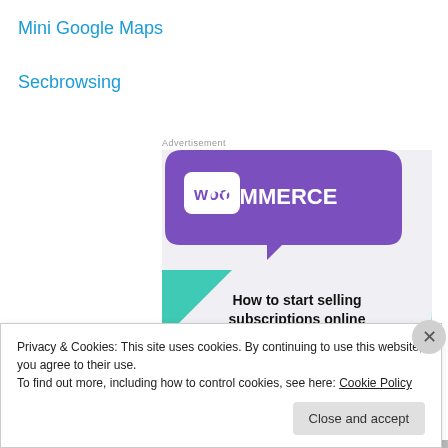Mini Google Maps
Secbrowsing
Advertisement
[Figure (illustration): WooCommerce advertisement banner showing the WooCommerce logo on a purple background with teal and light blue geometric shapes, and bold text reading 'How to start selling subscriptions online']
Privacy & Cookies: This site uses cookies. By continuing to use this website, you agree to their use.
To find out more, including how to control cookies, see here: Cookie Policy
Close and accept